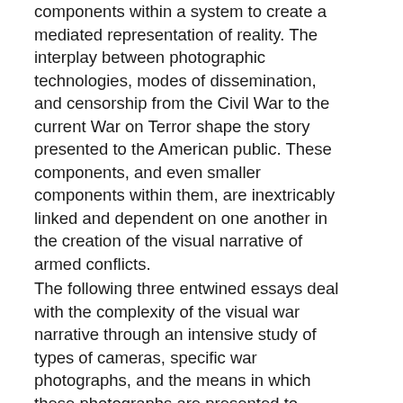components within a system to create a mediated representation of reality. The interplay between photographic technologies, modes of dissemination, and censorship from the Civil War to the current War on Terror shape the story presented to the American public. These components, and even smaller components within them, are inextricably linked and dependent on one another in the creation of the visual narrative of armed conflicts.
The following three entwined essays deal with the complexity of the visual war narrative through an intensive study of types of cameras, specific war photographs, and the means in which these photographs are presented to American civilians. Each essay stands alone, but can